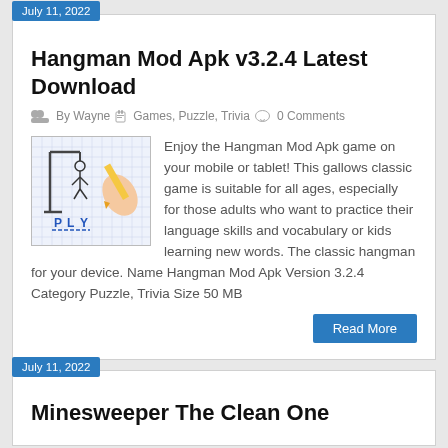July 11, 2022
Hangman Mod Apk v3.2.4 Latest Download
By Wayne   Games, Puzzle, Trivia   0 Comments
[Figure (illustration): Illustration of a hand holding a pencil drawing a hangman game on grid paper with letters P L Y visible]
Enjoy the Hangman Mod Apk game on your mobile or tablet! This gallows classic game is suitable for all ages, especially for those adults who want to practice their language skills and vocabulary or kids learning new words. The classic hangman for your device. Name Hangman Mod Apk Version 3.2.4 Category Puzzle, Trivia Size 50 MB
Read More
July 11, 2022
Minesweeper The Clean One